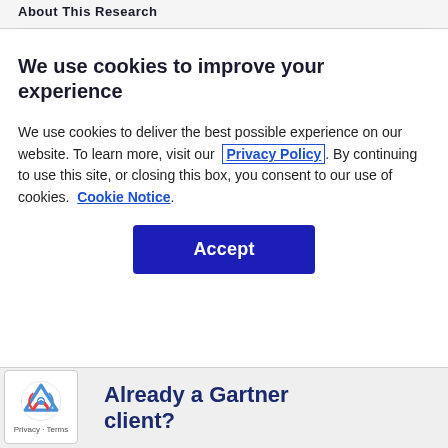About This Research
We use cookies to improve your experience
We use cookies to deliver the best possible experience on our website. To learn more, visit our  Privacy Policy . By continuing to use this site, or closing this box, you consent to our use of cookies.  Cookie Notice .
Accept
Already a Gartner client?